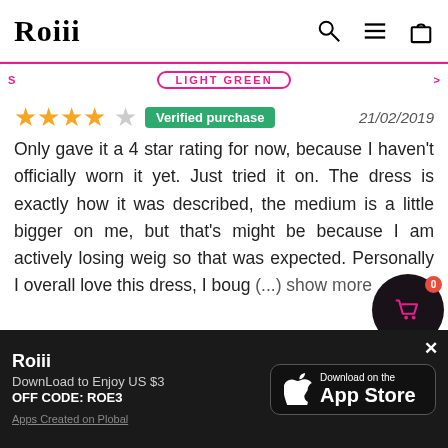Roiii
LIGHT GREEN
★★★★☆  Verified purchase   21/02/2019
Only gave it a 4 star rating for now, because I haven't officially worn it yet. Just tried it on. The dress is exactly how it was described, the medium is a little bigger on me, but that's might be because I am actively losing weig so that was expected. Personally I overall love this dress, I boug (...) show more
Roiii
Download to Enjoy US $3
OFF CODE: ROE3
Apps Created on Plobal
[Figure (screenshot): App Store download button with Apple logo]